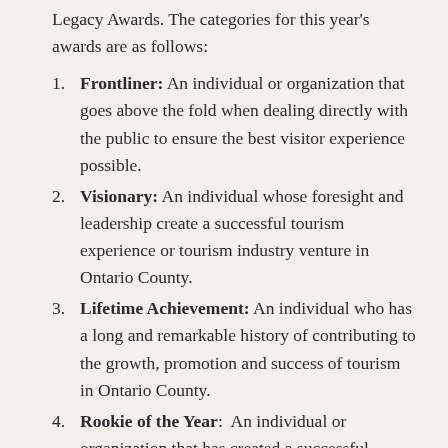Legacy Awards. The categories for this year's awards are as follows:
Frontliner: An individual or organization that goes above the fold when dealing directly with the public to ensure the best visitor experience possible.
Visionary: An individual whose foresight and leadership create a successful tourism experience or tourism industry venture in Ontario County.
Lifetime Achievement: An individual who has a long and remarkable history of contributing to the growth, promotion and success of tourism in Ontario County.
Rookie of the Year: An individual or organization that has created a successful tourism experience or tourism industry venture in Ontario County since 2014.